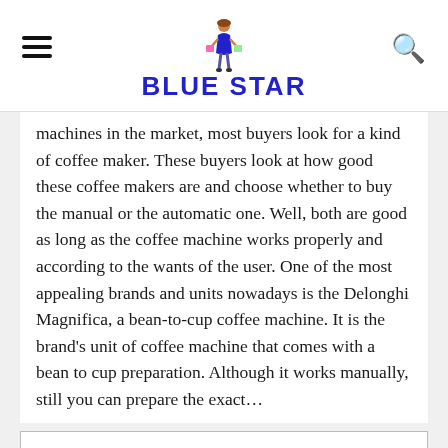BLUE STAR
machines in the market, most buyers look for a kind of coffee maker. These buyers look at how good these coffee makers are and choose whether to buy the manual or the automatic one. Well, both are good as long as the coffee machine works properly and according to the wants of the user. One of the most appealing brands and units nowadays is the Delonghi Magnifica, a bean-to-cup coffee machine. It is the brand's unit of coffee machine that comes with a bean to cup preparation. Although it works manually, still you can prepare the exact…
READ MORE
[Figure (photo): Bottom image partially visible, appears to show a person in blue clothing]